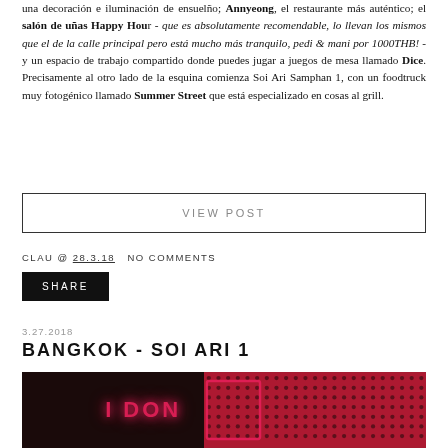una decoración e iluminación de ensuelño; Annyeong, el restaurante más auténtico; el salón de uñas Happy Hour - que es absolutamente recomendable, lo llevan los mismos que el de la calle principal pero está mucho más tranquilo, pedi & mani por 1000THB! - y un espacio de trabajo compartido donde puedes jugar a juegos de mesa llamado Dice. Precisamente al otro lado de la esquina comienza Soi Ari Samphan 1, con un foodtruck muy fotogénico llamado Summer Street que está especializado en cosas al grill.
VIEW POST
CLAU @ 28.3.18   NO COMMENTS
SHARE
3.27.2018
BANGKOK - SOI ARI 1
[Figure (photo): Dark background photo with pink/red neon sign showing partial text 'I DON' with dotted red pattern on right side]